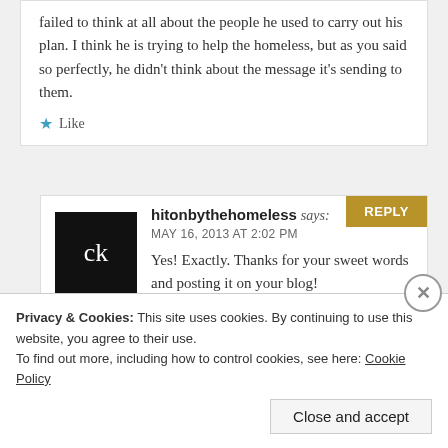failed to think at all about the people he used to carry out his plan. I think he is trying to help the homeless, but as you said so perfectly, he didn't think about the message it's sending to them.
Like
hitonbythehomeless says: MAY 16, 2013 AT 2:02 PM
Yes! Exactly. Thanks for your sweet words and posting it on your blog!
Like
Privacy & Cookies: This site uses cookies. By continuing to use this website, you agree to their use.
To find out more, including how to control cookies, see here: Cookie Policy
Close and accept